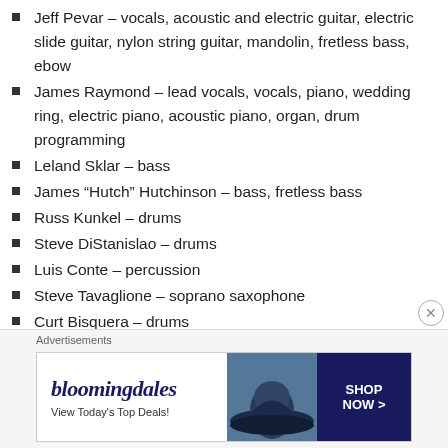Jeff Pevar – vocals, acoustic and electric guitar, electric slide guitar, nylon string guitar, mandolin, fretless bass, ebow
James Raymond – lead vocals, vocals, piano, wedding ring, electric piano, acoustic piano, organ, drum programming
Leland Sklar – bass
James “Hutch” Hutchinson – bass, fretless bass
Russ Kunkel – drums
Steve DiStanislao – drums
Luis Conte – percussion
Steve Tavaglione – soprano saxophone
Curt Bisquera – drums
[Figure (screenshot): Bloomingdale's advertisement banner reading 'View Today's Top Deals!' with 'SHOP NOW >' button and woman wearing large hat]